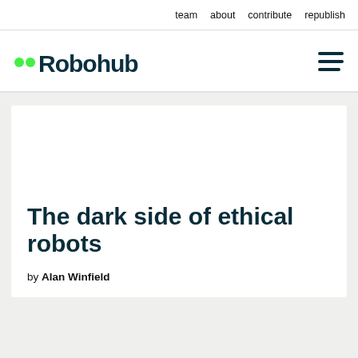team   about   contribute   republish
[Figure (logo): Robohub logo with two green dots and teal text reading 'Robohub', plus a hamburger menu icon on the right]
The dark side of ethical robots
by Alan Winfield